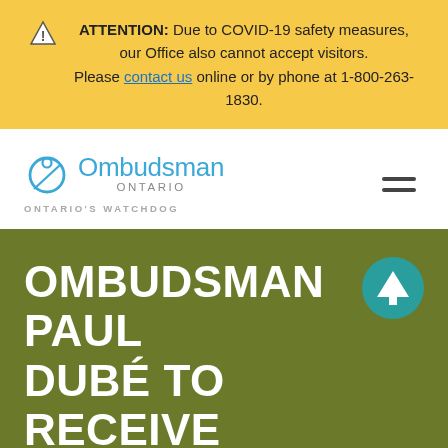ATTENTION: Due to COVID-19 safety measures, our Office also cannot accept visitors. Please contact us online or by phone at 1-800-263-1830.
[Figure (logo): Ombudsman Ontario logo with 'Ontario's Watchdog' tagline, and hamburger menu icon]
OMBUDSMAN PAUL DUBÉ TO RECEIVE ONTARIO BAR